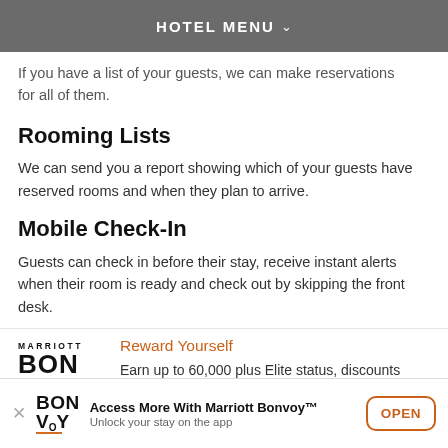HOTEL MENU
If you have a list of your guests, we can make reservations for all of them.
Rooming Lists
We can send you a report showing which of your guests have reserved rooms and when they plan to arrive.
Mobile Check-In
Guests can check in before their stay, receive instant alerts when their room is ready and check out by skipping the front desk.
[Figure (logo): Marriott Bonvoy logo with orange underline]
Reward Yourself
Earn up to 60,000 plus Elite status, discounts and more.
[Figure (logo): Marriott Bonvoy app banner logo]
Access More With Marriott Bonvoy™
Unlock your stay on the app